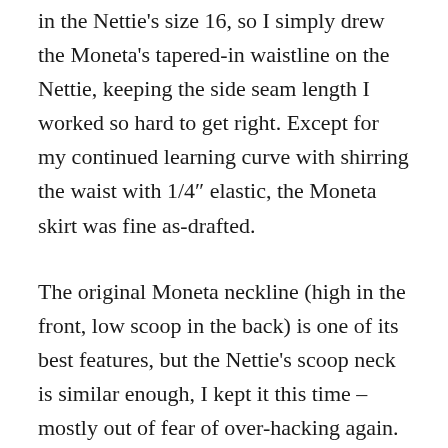in the Nettie's size 16, so I simply drew the Moneta's tapered-in waistline on the Nettie, keeping the side seam length I worked so hard to get right. Except for my continued learning curve with shirring the waist with 1/4″ elastic, the Moneta skirt was fine as-drafted.
The original Moneta neckline (high in the front, low scoop in the back) is one of its best features, but the Nettie's scoop neck is similar enough, I kept it this time – mostly out of fear of over-hacking again.